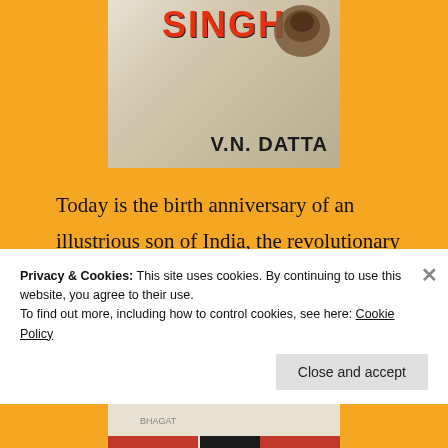[Figure (photo): Book cover showing title with V.N. DATTA as author, beige/cream background with red title text at top]
Today is the birth anniversary of an illustrious son of India, the revolutionary Bhagat Singh. I thought, this year, I will remember him by reminding myself of some of the books related to him that I have had on my wishlist for long:
Uncategorized   3 Comments
Privacy & Cookies: This site uses cookies. By continuing to use this website, you agree to their use.
To find out more, including how to control cookies, see here: Cookie Policy
Close and accept